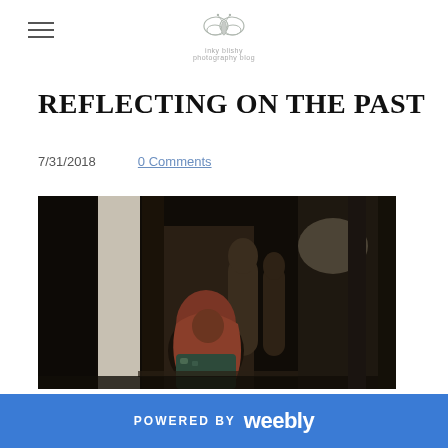inky blishy — photography blog logo and hamburger menu
REFLECTING ON THE PAST
7/31/2018    0 Comments
[Figure (photo): A person wearing a hijab and colorful patterned clothing stands in a dim, ornate corridor with arched doorways and columns, with light streaming in from the side.]
POWERED BY weebly